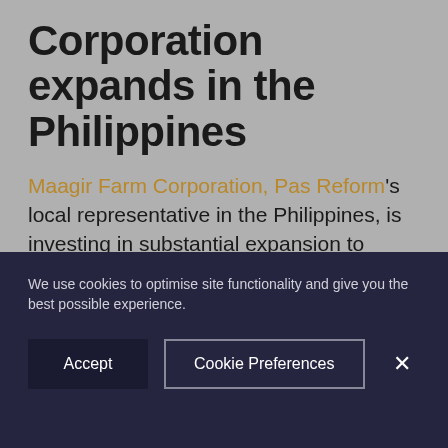Corporation expands in the Philippines
Maagir Farm Corporation, Pas Reform's local representative in the Philippines, is investing in substantial expansion to support its customers in the country's growing agri-business sector. 13 new members of staff have been appointed to expand the Maagir team, bringing additional resources to functions across the company, from accounting and admin support to warehousing
We use cookies to optimise site functionality and give you the best possible experience.
Accept | Cookie Preferences | ×